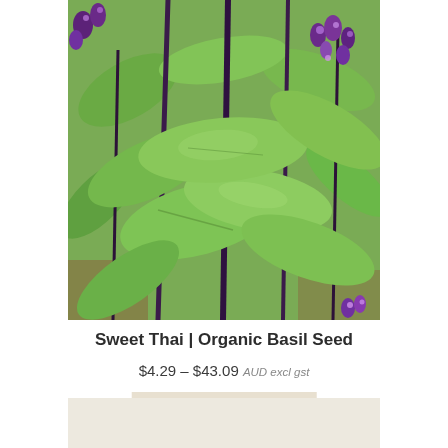[Figure (photo): Close-up photograph of Sweet Thai basil plant with dark purple stems, large green leaves, and small purple flowers blooming at the top]
Sweet Thai | Organic Basil Seed
$4.29 – $43.09 AUD excl gst
Select Options